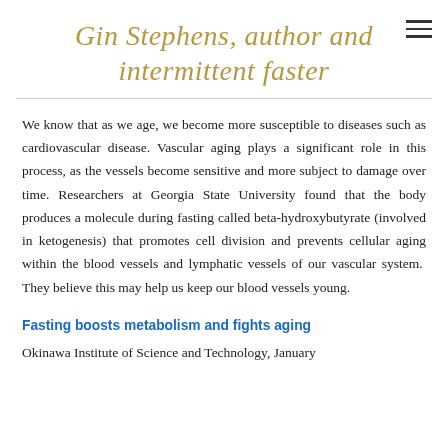Gin Stephens, author and intermittent faster
We know that as we age, we become more susceptible to diseases such as cardiovascular disease. Vascular aging plays a significant role in this process, as the vessels become sensitive and more subject to damage over time. Researchers at Georgia State University found that the body produces a molecule during fasting called beta-hydroxybutyrate (involved in ketogenesis) that promotes cell division and prevents cellular aging within the blood vessels and lymphatic vessels of our vascular system. They believe this may help us keep our blood vessels young.
Fasting boosts metabolism and fights aging
Okinawa Institute of Science and Technology, January